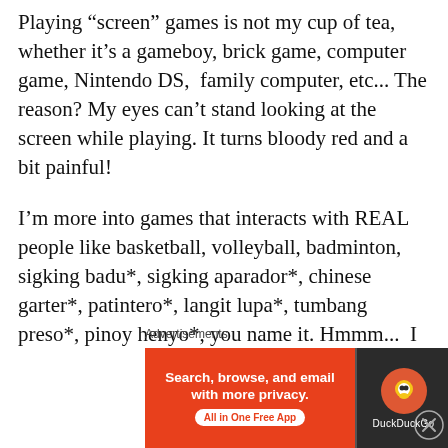Playing “screen” games is not my cup of tea, whether it’s a gameboy, brick game, computer game, Nintendo DS, family computer, etc... The reason? My eyes can’t stand looking at the screen while playing. It turns bloody red and a bit painful!
I’m more into games that interacts with REAL people like basketball, volleyball, badminton, sigking badu*, sigking aparador*, chinese garter*, patintero*, langit lupa*, tumbang preso*, pinoy henyo*, you name it. Hmmm... I
Advertisements
[Figure (screenshot): DuckDuckGo advertisement banner: orange left panel with text 'Search, browse, and email with more privacy. All in One Free App' and dark right panel with DuckDuckGo logo and name.]